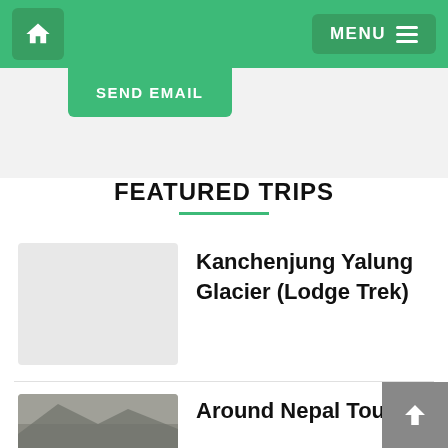MENU
SEND EMAIL
FEATURED TRIPS
Kanchenjung Yalung Glacier (Lodge Trek)
[Figure (photo): Thumbnail placeholder for Kanchenjung Yalung Glacier Lodge Trek]
Around Nepal Tour
[Figure (photo): Thumbnail photo for Around Nepal Tour]